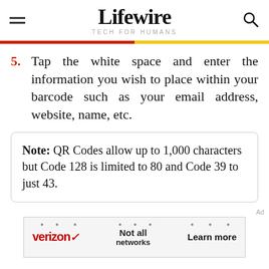Lifewire TECH FOR HUMANS
5. Tap the white space and enter the information you wish to place within your barcode such as your email address, website, name, etc.
Note: QR Codes allow up to 1,000 characters but Code 128 is limited to 80 and Code 39 to just 43.
[Figure (screenshot): Verizon advertisement banner: 'Not all networks' with 'Learn more' button]